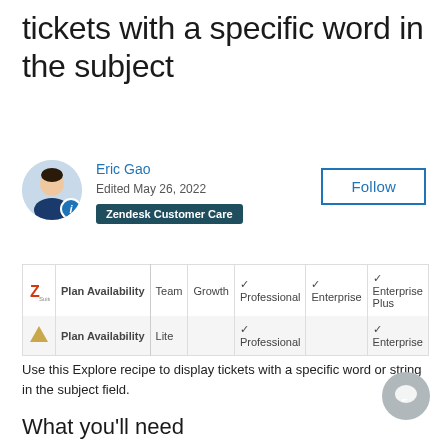tickets with a specific word in the subject
Eric Gao
Edited May 26, 2022
Zendesk Customer Care
|  | Plan Availability | Team | Growth | Professional | Enterprise | Enterprise Plus |
| --- | --- | --- | --- | --- | --- | --- |
| [Zendesk logo] | Plan Availability | Team | Growth | ✓ Professional | ✓ Enterprise | ✓ Enterprise Plus |
| [icon] | Plan Availability | Lite |  | ✓ Professional |  | ✓ Enterprise |
Use this Explore recipe to display tickets with a specific word or string in the subject field.
What you'll need